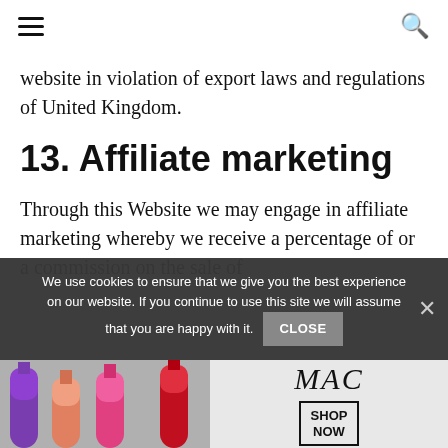[hamburger menu] [search icon]
website in violation of export laws and regulations of United Kingdom.
13. Affiliate marketing
Through this Website we may engage in affiliate marketing whereby we receive a percentage of or a commission on the sale of
We use cookies to ensure that we give you the best experience on our website. If you continue to use this site we will assume that you are happy with it. CLOSE
[Figure (photo): MAC cosmetics advertisement showing lipsticks and SHOP NOW button]